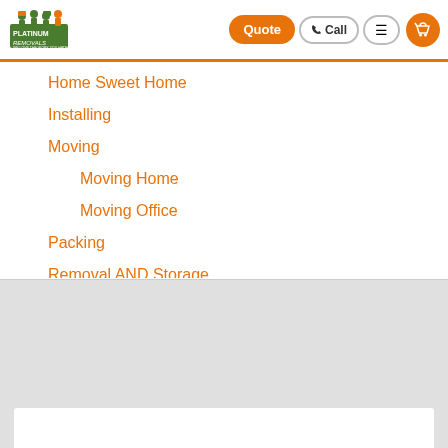[Figure (logo): Platinum Removals logo with figures carrying items and tagline 'We love the work you hate']
Home Sweet Home
Installing
Moving
Moving Home
Moving Office
Packing
Removal AND Storage
Removals
Home Removal
Insurance
Office Removal
Self Storage
Furniture Storage
Storage Service
Storage Units